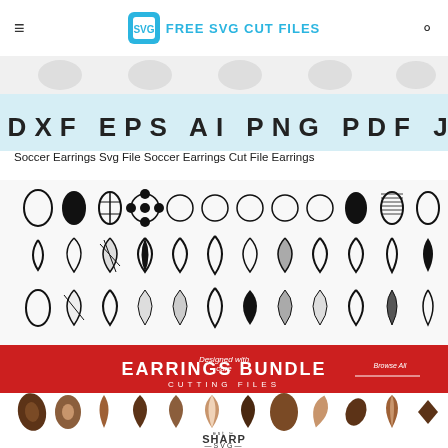FREE SVG CUT FILES
[Figure (screenshot): Banner showing SVG DXF EPS AI PNG PDF JPEG format types on light blue background with decorative earring silhouettes above]
Soccer Earrings Svg File Soccer Earrings Cut File Earrings
[Figure (screenshot): Grid of black and white earring cut file designs (teardrops, florals, leaf shapes with patterns) above a red EARRINGS BUNDLE CUTTING FILES banner, then brown leather-look earring shapes below with Sharp SVG logo]